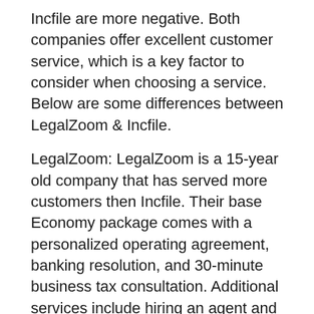Incfile are more negative. Both companies offer excellent customer service, which is a key factor to consider when choosing a service. Below are some differences between LegalZoom & Incfile.
LegalZoom: LegalZoom is a 15-year old company that has served more customers then Incfile. Their base Economy package comes with a personalized operating agreement, banking resolution, and 30-minute business tax consultation. Additional services include hiring an agent and filing tax returns. However, LegalZoom does not offer a free Agent. So, the bottom line is that Incfile is the better choice if you're looking for a simple, low-cost service.